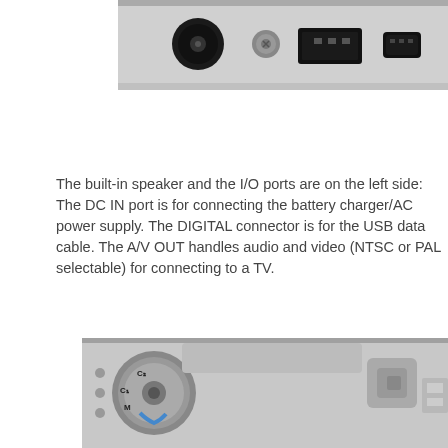[Figure (photo): Close-up photo of the left side of a digital camera showing I/O ports: a circular DC IN port, a DIGITAL connector, and an A/V OUT mini-USB port, on a silver camera body.]
The built-in speaker and the I/O ports are on the left side: The DC IN port is for connecting the battery charger/AC power supply. The DIGITAL connector is for the USB data cable. The A/V OUT handles audio and video (NTSC or PAL selectable) for connecting to a TV.
[Figure (photo): Photo of the top of a silver digital camera showing a mode dial with settings including C2, C1, M, and other modes, along with various controls and buttons on the camera body.]